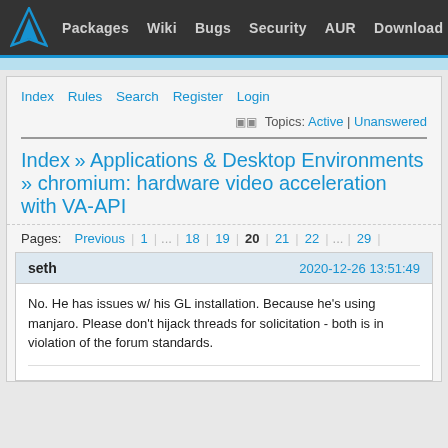Packages  Wiki  Bugs  Security  AUR  Download
Index  Rules  Search  Register  Login
Topics: Active | Unanswered
Index » Applications & Desktop Environments » chromium: hardware video acceleration with VA-API
Pages: Previous | 1 | ... | 18 | 19 | 20 | 21 | 22 | ... | 29
seth   2020-12-26 13:51:49
No. He has issues w/ his GL installation. Because he's using manjaro. Please don't hijack threads for solicitation - both is in violation of the forum standards.